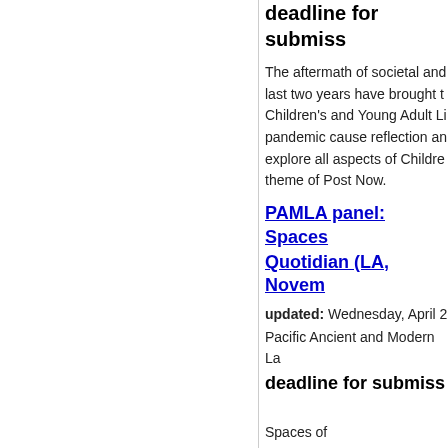deadline for submiss
The aftermath of societal and last two years have brought t Children's and Young Adult Li pandemic cause reflection an explore all aspects of Childre theme of Post Now.
PAMLA panel: Spaces Quotidian (LA, Novem
updated: Wednesday, April 2
Pacific Ancient and Modern La
deadline for submiss
Spaces of